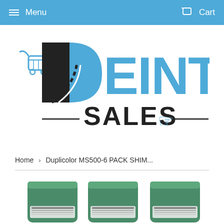Menu   Cart
[Figure (logo): Heintz Sales logo with shopping cart icon and road graphic in blue and black]
Home › Duplicolor MS500-6 PACK SHIM...
[Figure (photo): Green cylindrical cans of Duplicolor MS500 product, three visible, with barcode labels]